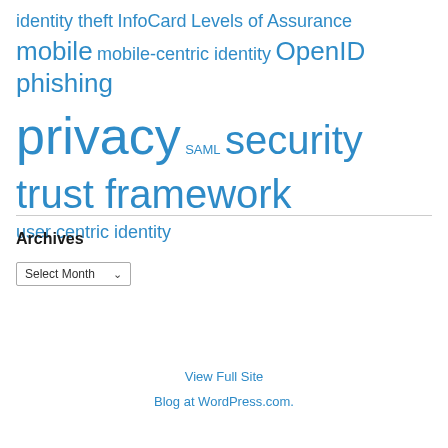identity theft InfoCard Levels of Assurance mobile mobile-centric identity OpenID phishing privacy SAML security trust framework user centric identity
Archives
Select Month
View Full Site
Blog at WordPress.com.